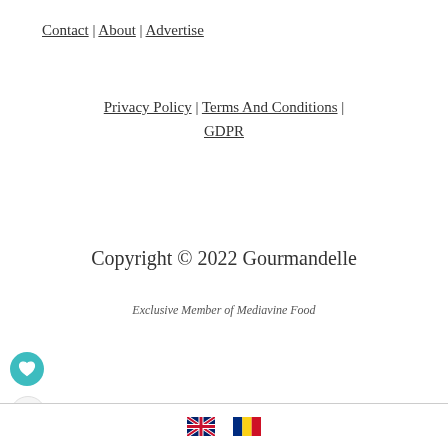Contact | About | Advertise
Privacy Policy | Terms And Conditions | GDPR
Copyright © 2022 Gourmandelle
Exclusive Member of Mediavine Food
[Figure (other): Heart/favorite button (teal circle with heart icon) and share button (circle with share icon) on left side; bottom bar with UK and Romania flag icons]